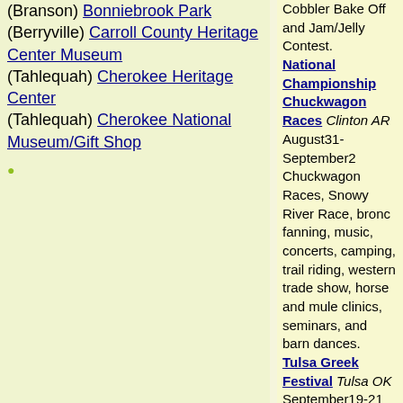(Branson) Bonniebrook Park (Berryville) Carroll County Heritage Center Museum (Tahlequah) Cherokee Heritage Center (Tahlequah) Cherokee National Museum/Gift Shop
National Championship Chuckwagon Races Clinton AR August31-September2 Chuckwagon Races, Snowy River Race, bronc fanning, music, concerts, camping, trail riding, western trade show, horse and mule clinics, seminars, and barn dances. Tulsa Greek Festival Tulsa OK September19-21 Build your own Greek dinner, enjoy some Greek desserts, buy a Greek cookbook with an area flavor, and imagine the sights, sounds